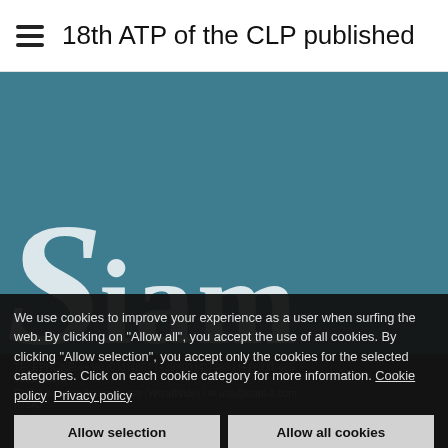18th ATP of the CLP published
[Figure (logo): SIAM company logo on teal background]
We use cookies to improve your experience as a user when surfing the web. By clicking on "Allow all", you accept the use of all cookies. By clicking "Allow selection", you accept only the cookies for the selected categories. Click on each cookie category for more information. Cookie policy  Privacy policy
Allow selection
Allow all cookies
Cookie settings:
Necessary | Preferences | Statistics